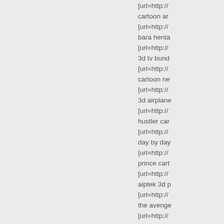[url=http:// cartoon ar [url=http:// bara henta [url=http:// 3d tv bund [url=http:// cartoon ne [url=http:// 3d airplane [url=http:// hustler car [url=http:// day by day [url=http:// prince cart [url=http:// aiptek 3d p [url=http:// the avenge [url=http:// ff13 lightni [url=http:// cartoon wo [url=http://